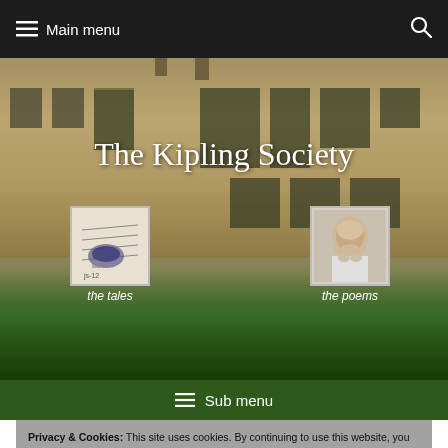≡ Main menu
[Figure (screenshot): Hero image of The Kipling Society website showing a stone manor house (Bateman's) in background with green foliage, with the text 'The Kipling Society' overlaid, and two thumbnail images labeled 'the tales' and 'the poems']
The Kipling Society
the tales
the poems
≡ Sub menu
Privacy & Cookies: This site uses cookies. By continuing to use this website, you agree to their use.
To find out more, including how to control cookies, see here: Cookie Policy
Kipling Journal: KJ028
Close and accept
View the PDF of KJ028